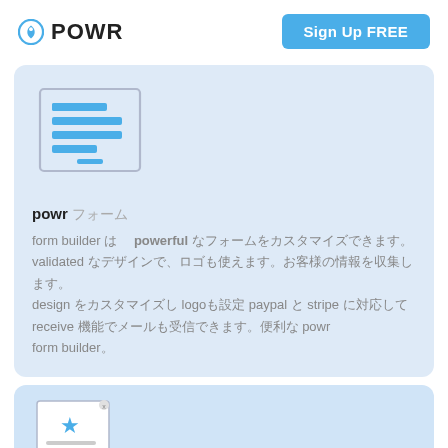POWR | Sign Up FREE
[Figure (illustration): Form builder icon: a monitor/screen outline with blue horizontal bars representing form fields]
powr フォーム
form builder は powerful なフォームをカスタマイズできます。validated デザインで、ロゴも使えます。paypal と stripe 対応。receive 機能も充実。powr form builder。
[Figure (illustration): Second card icon partially visible: a document/popup with a star icon]